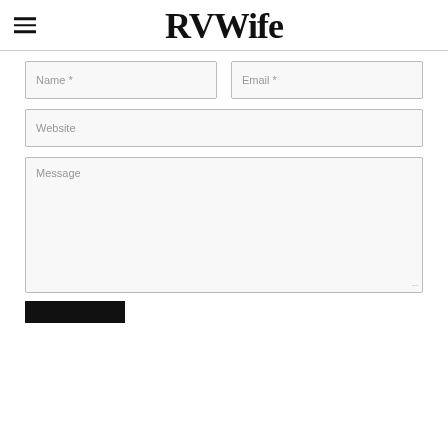RVWife
Name *
Email *
Website
Message